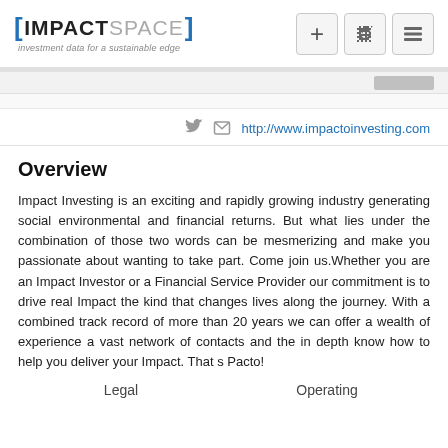IMPACTSPACE investment data for a sustainable edge
http://www.impactoinvesting.com
Overview
Impact Investing is an exciting and rapidly growing industry generating social environmental and financial returns. But what lies under the combination of those two words can be mesmerizing and make you passionate about wanting to take part. Come join us.Whether you are an Impact Investor or a Financial Service Provider our commitment is to drive real Impact the kind that changes lives along the journey. With a combined track record of more than 20 years we can offer a wealth of experience a vast network of contacts and the in depth know how to help you deliver your Impact. That s Pacto!
Legal   Operating